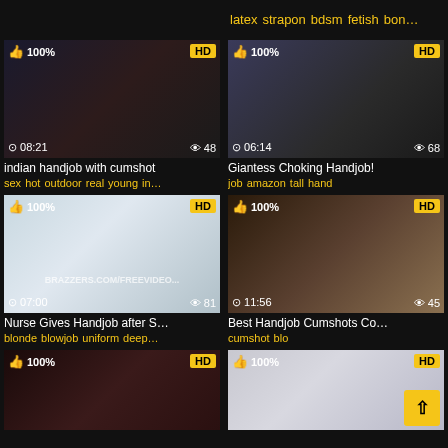[Figure (screenshot): Video thumbnail grid - adult video website with 6 video thumbnails in a 2-column layout]
latex strapon bdsm fetish bon...
[Figure (photo): Video thumbnail: indian handjob with cumshot, 08:21, 48 views, 100%, HD]
indian handjob with cumshot
sex hot outdoor real young in...
[Figure (photo): Video thumbnail: Giantess Choking Handjob!, 06:14, 68 views, 100%, HD]
Giantess Choking Handjob!
job amazon tall hand
[Figure (photo): Video thumbnail: Nurse Gives Handjob after S..., 07:00, 81 views, 100%, HD]
Nurse Gives Handjob after S...
blonde blowjob uniform deep...
[Figure (photo): Video thumbnail: Best Handjob Cumshots Co..., 11:56, 45 views, 100%, HD]
Best Handjob Cumshots Co...
cumshot blo
[Figure (photo): Video thumbnail bottom left, 100%, HD]
[Figure (photo): Video thumbnail bottom right, 100%, HD]